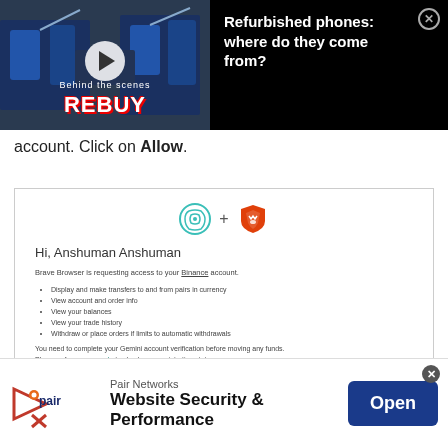[Figure (screenshot): Video overlay ad showing a factory/robot manufacturing scene with REBUY branding and play button on the left, and 'Refurbished phones: where do they come from?' text on dark background on the right, with a close X button]
account. Click on Allow.
[Figure (screenshot): A browser permission dialog for Gemini + Brave browser integration showing 'Hi, Anshuman Anshuman', permission request bullet points, an ALLOW button, and a red arrow pointing to it]
[Figure (screenshot): Bottom advertisement for Pair Networks - Website Security & Performance with logo and Open button]